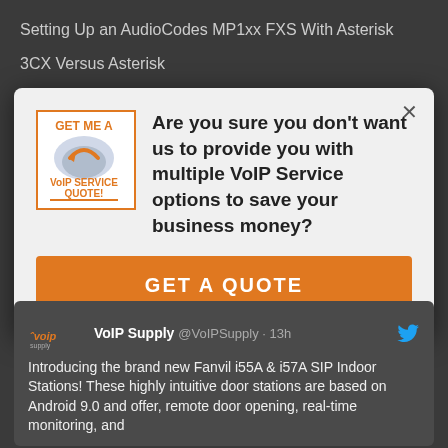Setting Up an AudioCodes MP1xx FXS With Asterisk
3CX Versus Asterisk
SIP for residential
[Figure (screenshot): Modal popup ad asking 'Are you sure you don't want us to provide you with multiple VoIP Service options to save your business money?' with a GET A QUOTE button in orange and a VoIP service quote ad image on the left. Close (x) button at top right.]
VoIP Supply @VoIPSupply · 13h
Introducing the brand new Fanvil i55A & i57A SIP Indoor Stations! These highly intuitive door stations are based on Android 9.0 and offer, remote door opening, real-time monitoring, and